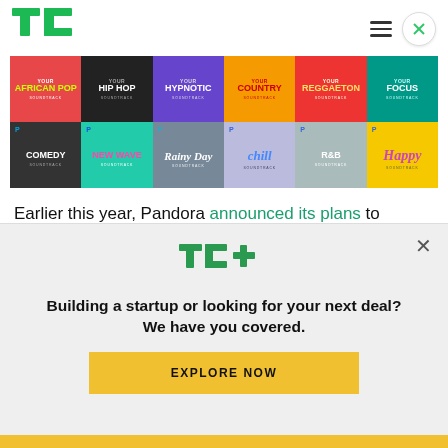TechCrunch header with TC logo, hamburger menu, and close button
[Figure (screenshot): Pandora soundtrack grid showing 12 genre tiles in 2 rows of 6: African Pop, Hip Hop, Hypnotic, Country, Reggaeton, Focus (top row); Comedy, New Wave, Rainy Day, Chill, R&B, Happy (bottom row)]
Earlier this year, Pandora announced its plans to challenge Spotify by taking aim at one of its rival's
[Figure (screenshot): TC+ modal overlay with TechCrunch Plus logo, headline 'Building a startup or looking for your next deal? We have you covered.' and yellow EXPLORE NOW button]
Building a startup or looking for your next deal? We have you covered.
EXPLORE NOW